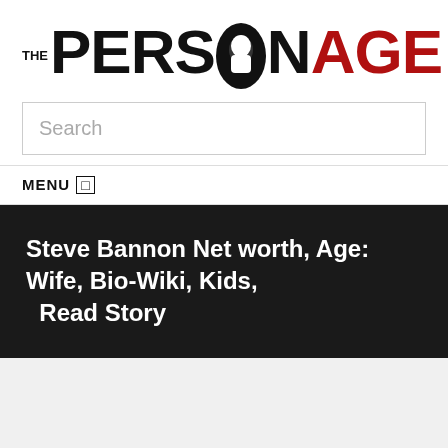[Figure (logo): The PersonAge website logo with stylized text — THE in small stacked letters, PERSON in black bold large font with a face silhouette in the O, AGE in red bold large font]
[Figure (other): Search input box with placeholder text 'Search']
MENU
Steve Bannon Net worth, Age: Wife, Bio-Wiki, Kids, Read Story